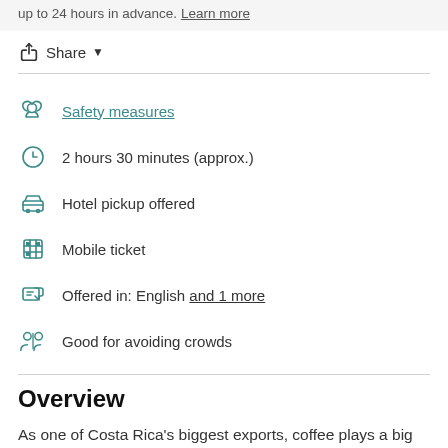up to 24 hours in advance. Learn more
Share
Safety measures
2 hours 30 minutes (approx.)
Hotel pickup offered
Mobile ticket
Offered in: English and 1 more
Good for avoiding crowds
Overview
As one of Costa Rica's biggest exports, coffee plays a big role in Costa Rica's economy—and its culture,